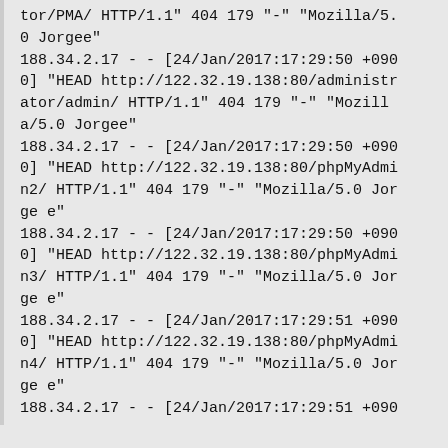tor/PMA/ HTTP/1.1" 404 179 "-" "Mozilla/5.0 Jorgee"
188.34.2.17 - - [24/Jan/2017:17:29:50 +0900] "HEAD http://122.32.19.138:80/administrator/admin/ HTTP/1.1" 404 179 "-" "Mozilla/5.0 Jorgee"
188.34.2.17 - - [24/Jan/2017:17:29:50 +0900] "HEAD http://122.32.19.138:80/phpMyAdmin2/ HTTP/1.1" 404 179 "-" "Mozilla/5.0 Jorgee"
188.34.2.17 - - [24/Jan/2017:17:29:50 +0900] "HEAD http://122.32.19.138:80/phpMyAdmin3/ HTTP/1.1" 404 179 "-" "Mozilla/5.0 Jorgee"
188.34.2.17 - - [24/Jan/2017:17:29:51 +0900] "HEAD http://122.32.19.138:80/phpMyAdmin4/ HTTP/1.1" 404 179 "-" "Mozilla/5.0 Jorgee"
188.34.2.17 - - [24/Jan/2017:17:29:51 +090